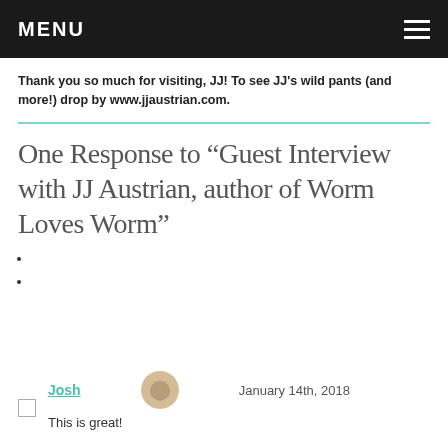MENU
Thank you so much for visiting, JJ! To see JJ's wild pants (and more!) drop by www.jjaustrian.com.
One Response to “Guest Interview with JJ Austrian, author of Worm Loves Worm”
Josh  January 14th, 2018
This is great!